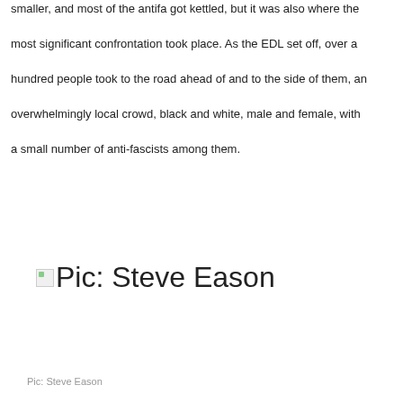smaller, and most of the antifa got kettled, but it was also where the most significant confrontation took place. As the EDL set off, over a hundred people took to the road ahead of and to the side of them, an overwhelmingly local crowd, black and white, male and female, with a small number of anti-fascists among them.
[Figure (photo): Broken image placeholder with label 'Pic: Steve Eason' in large text]
Pic: Steve Eason